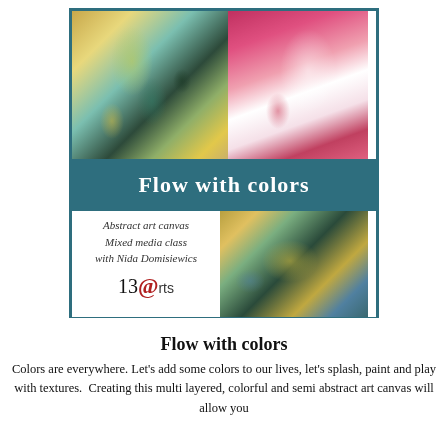[Figure (illustration): Promotional poster for 'Flow with colors' class — a teal-bordered square composite showing three abstract mixed-media artwork photos and a teal title banner with white script text 'Flow with colors', plus subtitle text describing an abstract art canvas mixed media class with Nida Domisiewics and the 13@rts logo.]
Flow with colors
Colors are everywhere. Let's add some colors to our lives, let's splash, paint and play with textures.  Creating this multi layered, colorful and semi abstract art canvas will allow you